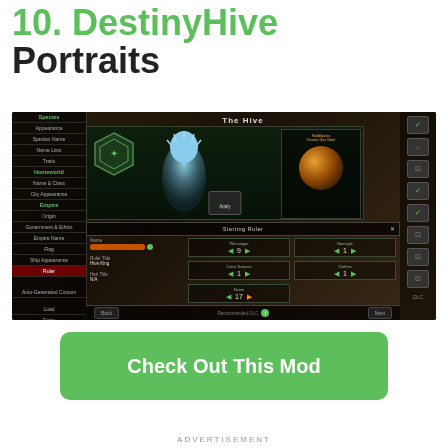10. DestinyHive Portraits
[Figure (screenshot): Game screenshot showing Stellaris empire creation screen with 'The Hive' species, featuring a creature portrait, planet selection showing 'Chaotic Gas Giant', and Starting Ruler configuration panel with Name, Ruler Title fields and sliders for Phenotype (9), Hairstyle (1), Color Variants (1), Clothes (1), Name (17)]
Check Out This Mod
ADVERTISEMENT